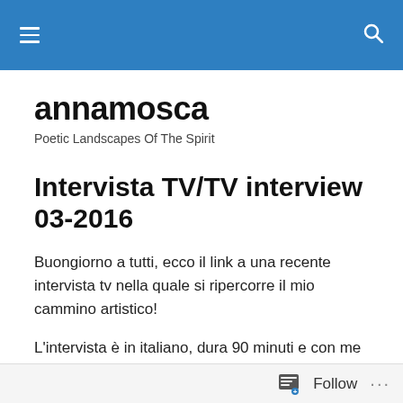annamosca — blog header with hamburger menu and search icon
annamosca
Poetic Landscapes Of The Spirit
Intervista TV/TV interview 03-2016
Buongiorno a tutti, ecco il link a una recente intervista tv nella quale si ripercorre il mio cammino artistico!
L'intervista è in italiano, dura 90 minuti e con me sono stati intervistati altri 3 artisti il giorno di pasquetta, ecco il
Follow